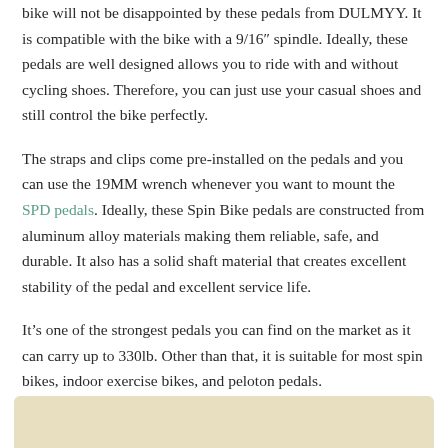bike will not be disappointed by these pedals from DULMYY. It is compatible with the bike with a 9/16″ spindle. Ideally, these pedals are well designed allows you to ride with and without cycling shoes. Therefore, you can just use your casual shoes and still control the bike perfectly.
The straps and clips come pre-installed on the pedals and you can use the 19MM wrench whenever you want to mount the SPD pedals. Ideally, these Spin Bike pedals are constructed from aluminum alloy materials making them reliable, safe, and durable. It also has a solid shaft material that creates excellent stability of the pedal and excellent service life.
It's one of the strongest pedals you can find on the market as it can carry up to 330lb. Other than that, it is suitable for most spin bikes, indoor exercise bikes, and peloton pedals.
[Figure (photo): Partial image visible at the bottom of the page with a tan/beige background color]